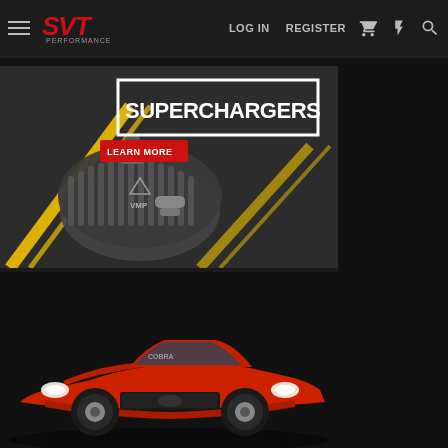SVT Performance | LOG IN | REGISTER
[Figure (screenshot): Superchargers promotional banner with VMP supercharger product image on dark background with yellow diagonal stripes. White bold text reads SUPERCHARGERS in a box outline. Red button reads LEARN MORE.]
[Figure (photo): Red Ford Mustang SVT Cobra sports car front view on dark background]